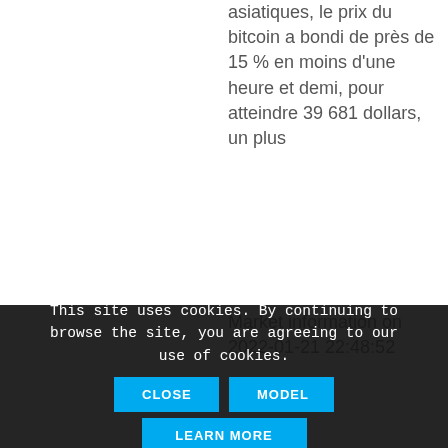asiatiques, le prix du bitcoin a bondi de près de 15 % en moins d'une heure et demi, pour atteindre 39 681 dollars, un plus
Market information on 2022-01-21 22:48:52
This site uses cookies. By continuing to browse the site, you are agreeing to our use of cookies.
CLOSE
MODEL
LEARN MORE